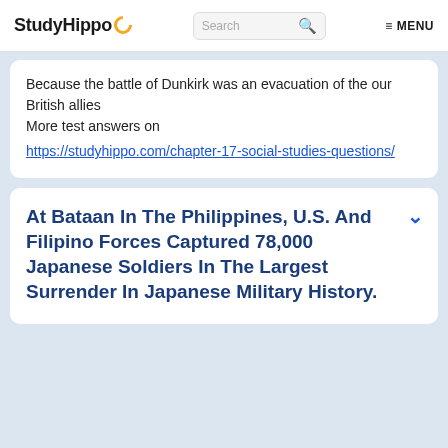StudyHippo  Search  MENU
Because the battle of Dunkirk was an evacuation of the our British allies
More test answers on https://studyhippo.com/chapter-17-social-studies-questions/
At Bataan In The Philippines, U.S. And Filipino Forces Captured 78,000 Japanese Soldiers In The Largest Surrender In Japanese Military History.